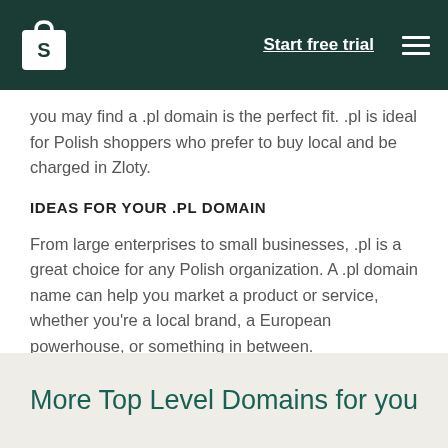Start free trial
you may find a .pl domain is the perfect fit. .pl is ideal for Polish shoppers who prefer to buy local and be charged in Zloty.
IDEAS FOR YOUR .PL DOMAIN
From large enterprises to small businesses, .pl is a great choice for any Polish organization. A .pl domain name can help you market a product or service, whether you're a local brand, a European powerhouse, or something in between.
More Top Level Domains for you